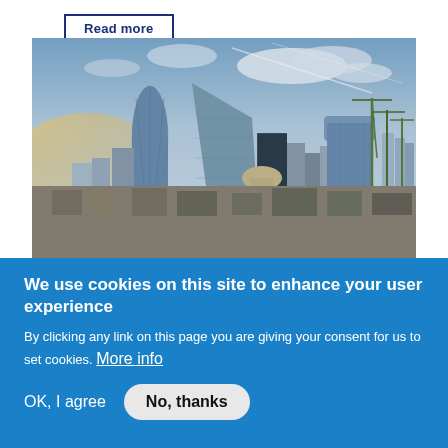Read more
[Figure (photo): Aerial cityscape photograph of London financial district showing iconic skyscrapers including the Gherkin (30 St Mary Axe) and Walkie-Talkie building (20 Fenchurch Street), with construction cranes visible and a partly cloudy sky.]
We use cookies on this site to enhance your user experience
By clicking any link on this page you are giving your consent for us to set cookies. More info
OK, I agree
No, thanks